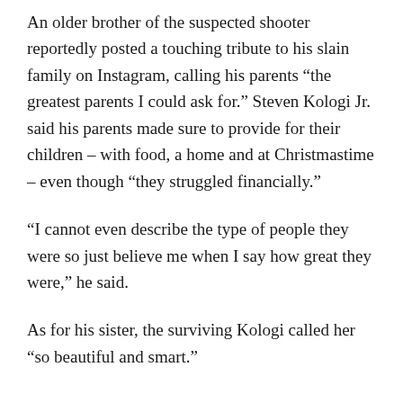An older brother of the suspected shooter reportedly posted a touching tribute to his slain family on Instagram, calling his parents “the greatest parents I could ask for.” Steven Kologi Jr. said his parents made sure to provide for their children – with food, a home and at Christmastime – even though “they struggled financially.”
“I cannot even describe the type of people they were so just believe me when I say how great they were,” he said.
As for his sister, the surviving Kologi called her “so beautiful and smart.”